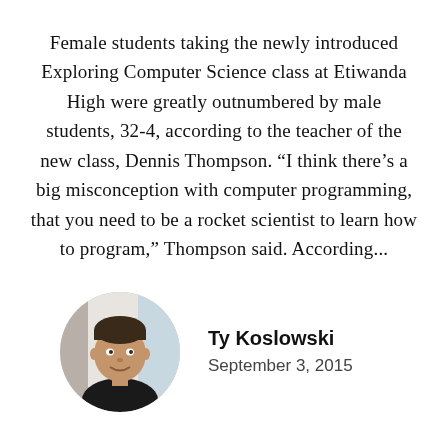Female students taking the newly introduced Exploring Computer Science class at Etiwanda High were greatly outnumbered by male students, 32-4, according to the teacher of the new class, Dennis Thompson. “I think there’s a big misconception with computer programming, that you need to be a rocket scientist to learn how to program,” Thompson said. According...
[Figure (photo): Circular portrait photo of Ty Koslowski, a young male student]
Ty Koslowski
September 3, 2015